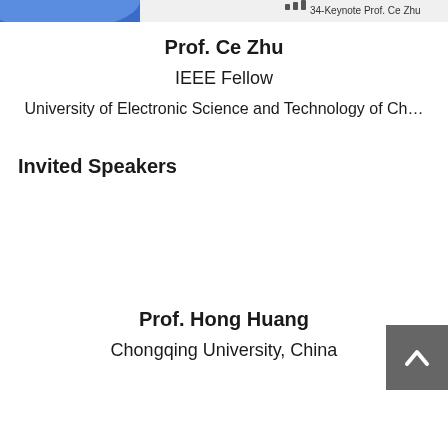[Figure (screenshot): Top partial banner image showing a blue shape on the left and a video conference label reading '34-Keynote Prof. Ce Zhu' with signal bars icon on the right.]
Prof. Ce Zhu
IEEE Fellow
University of Electronic Science and Technology of Ch...
Invited Speakers
Prof. Hong Huang
Chongqing University, China